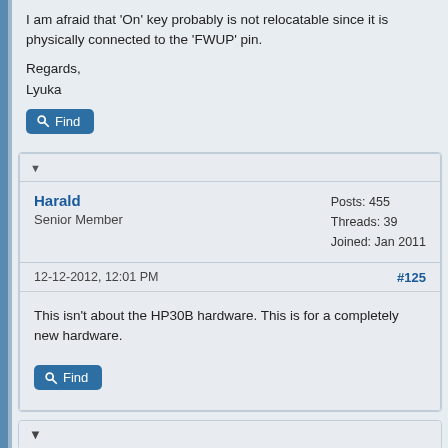I am afraid that 'On' key probably is not relocatable since it is physically connected to the 'FWUP' pin.
Regards,
Lyuka
Find
Harald
Senior Member
Posts: 455
Threads: 39
Joined: Jan 2011
12-12-2012, 12:01 PM
#125
This isn't about the HP30B hardware. This is for a completely new hardware.
Find